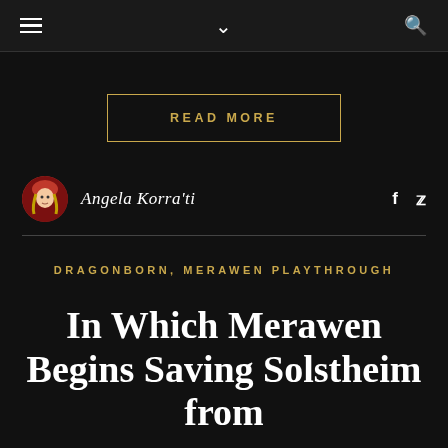Navigation bar with hamburger menu, chevron/dropdown, and search icons
READ MORE
Angela Korra'ti
DRAGONBORN, MERAWEN PLAYTHROUGH
In Which Merawen Begins Saving Solstheim from